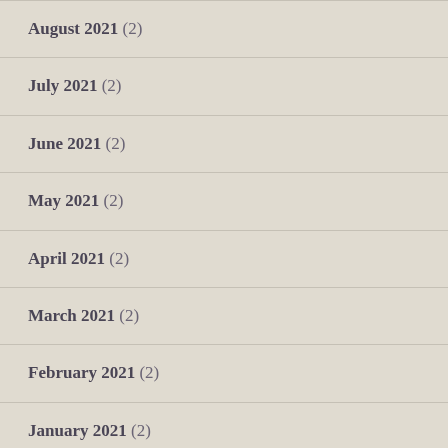August 2021 (2)
July 2021 (2)
June 2021 (2)
May 2021 (2)
April 2021 (2)
March 2021 (2)
February 2021 (2)
January 2021 (2)
December 2020 (2)